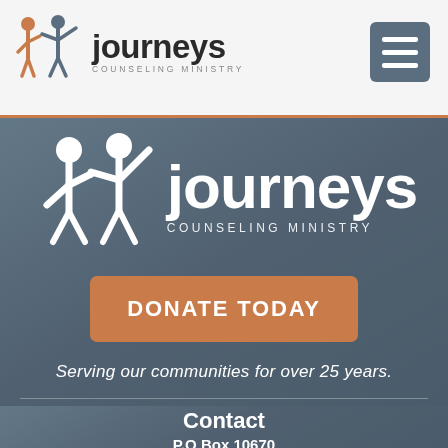Journeys Counseling Ministry — navigation header
[Figure (logo): Journeys Counseling Ministry logo in the header. Shows two abstract human figures in orange and gray with 'journeys' text and 'COUNSELING MINISTRY' subtitle.]
[Figure (logo): Large white Journeys Counseling Ministry logo on dark background. Two white abstract human figures with 'journeys' in large white text and 'COUNSELING MINISTRY' subtitle.]
DONATE TODAY
Serving our communities for over 25 years.
Contact
P.O Box 10670